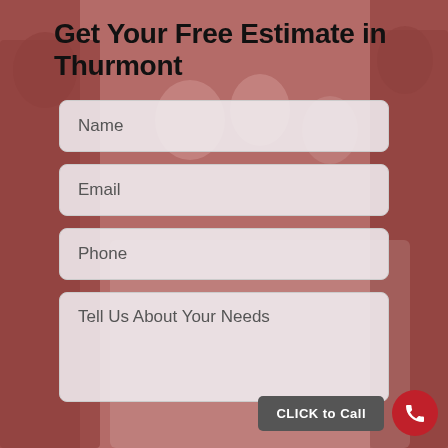[Figure (photo): Background photo of a group of people in red uniforms/shirts, partially obscured by a semi-transparent overlay. Silhouettes visible on left and right sides.]
Get Your Free Estimate in Thurmont
Name
Email
Phone
Tell Us About Your Needs
CLICK to Call